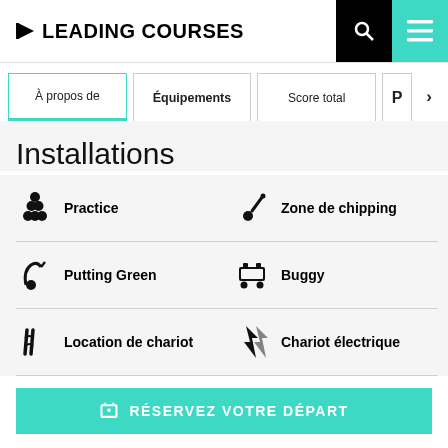LEADING COURSES
À propos de
Équipements
Score total
Installations
Practice
Zone de chipping
Putting Green
Buggy
Location de chariot
Chariot électrique
RÉSERVEZ VOTRE DÉPART